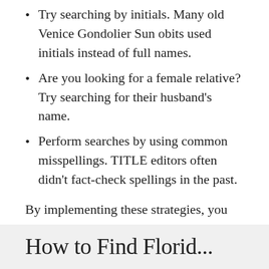Try searching by initials. Many old Venice Gondolier Sun obits used initials instead of full names.
Are you looking for a female relative? Try searching for their husband's name.
Perform searches by using common misspellings. TITLE editors often didn't fact-check spellings in the past.
By implementing these strategies, you can go deeper with your research and uncover the ancestors you never knew you had. It’s also ideal for fact-checking, as many obituaries weren’t necessarily created with 100% accuracy.
How to Find Florid...